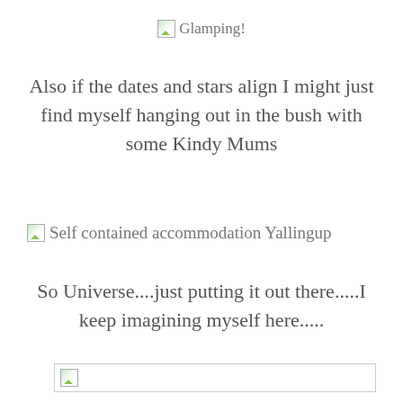[Figure (other): Broken image placeholder icon next to text 'Glamping!']
Also if the dates and stars align I might just find myself hanging out in the bush with some Kindy Mums
[Figure (other): Broken image placeholder icon next to text 'Self contained accommodation Yallingup']
So Universe....just putting it out there.....I keep imagining myself here.....
[Figure (other): Broken image placeholder wide image at bottom of page]